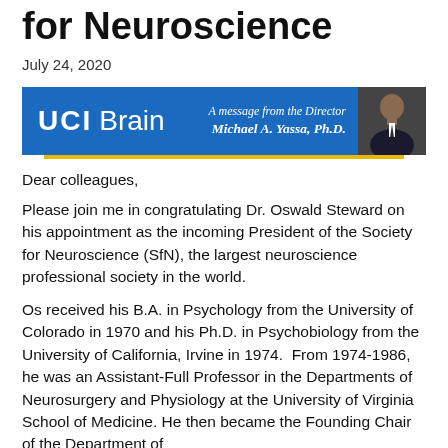for Neuroscience
July 24, 2020
[Figure (other): UCI Brain banner with text: A message from the Director Michael A. Yassa, Ph.D. and a photo of a man in a suit]
Dear colleagues,
Please join me in congratulating Dr. Oswald Steward on his appointment as the incoming President of the Society for Neuroscience (SfN), the largest neuroscience professional society in the world.
Os received his B.A. in Psychology from the University of Colorado in 1970 and his Ph.D. in Psychobiology from the University of California, Irvine in 1974.  From 1974-1986, he was an Assistant-Full Professor in the Departments of Neurosurgery and Physiology at the University of Virginia School of Medicine. He then became the Founding Chair of the Department of…